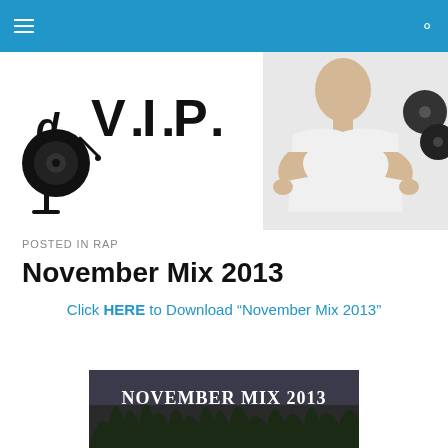Navigation bar with menu icon and search icon
[Figure (logo): DJ V.I.P logo with vinyl record and turntable graphic, text reads dVIP]
[Figure (photo): DJ figure in white t-shirt holding vinyl records, extending hands toward camera]
POSTED IN RAP
November Mix 2013
Click HERE to Download "November Mix 2013"
[Figure (photo): November Mix 2013 cover art with dark tree silhouettes and white stylized text reading NOVEMBER MIX 2013]